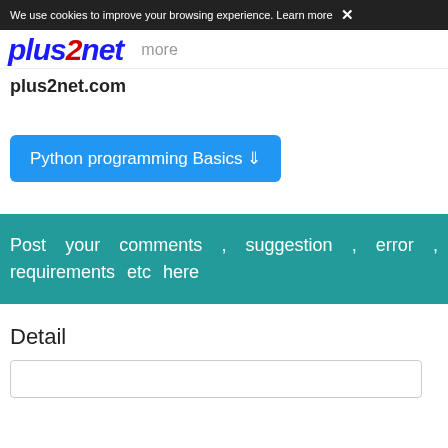We use cookies to improve your browsing experience. Learn more ×
[Figure (logo): plus2net logo in blue italic bold text with red '2']
plus2net.com
Python programming Basics ⇩
Post your comments , suggestion , error , requirements etc here
Detail